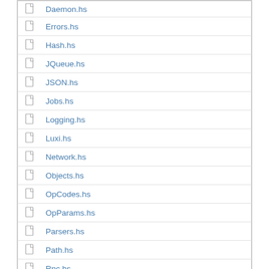Daemon.hs
Errors.hs
Hash.hs
JQueue.hs
JSON.hs
Jobs.hs
Logging.hs
Luxi.hs
Network.hs
Objects.hs
OpCodes.hs
OpParams.hs
Parsers.hs
Path.hs
Rpc.hs
Runtime.hs
Ssconf.hs
THH.hs
Types.hs
Utils.hs
Version.hs.in
Latest revisions